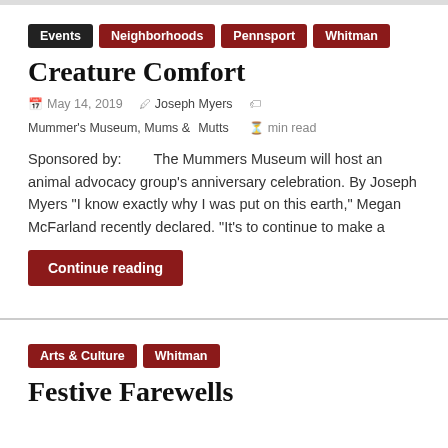Events
Neighborhoods
Pennsport
Whitman
Creature Comfort
May 14, 2019  Joseph Myers  Mummer's Museum, Mums & Mutts  min read
Sponsored by:        The Mummers Museum will host an animal advocacy group's anniversary celebration. By Joseph Myers “I know exactly why I was put on this earth,” Megan McFarland recently declared. “It’s to continue to make a
Continue reading
Arts & Culture
Whitman
Festive Farewells